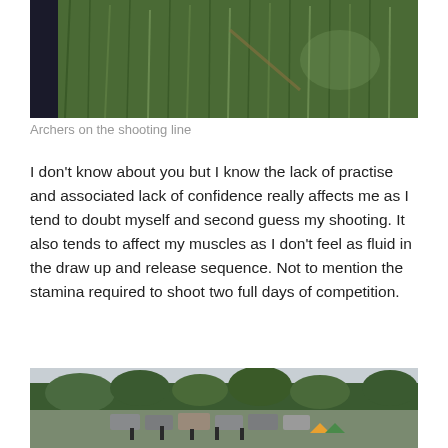[Figure (photo): Close-up photo of green grass, partially showing a person's dark-clothed leg/body on the left edge]
Archers on the shooting line
I don't know about you but I know the lack of practise and associated lack of confidence really affects me as I tend to doubt myself and second guess my shooting. It also tends to affect my muscles as I don't feel as fluid in the draw up and release sequence. Not to mention the stamina required to shoot two full days of competition.
[Figure (photo): Outdoor archery competition scene with people, cars parked in background, trees and overcast sky visible]